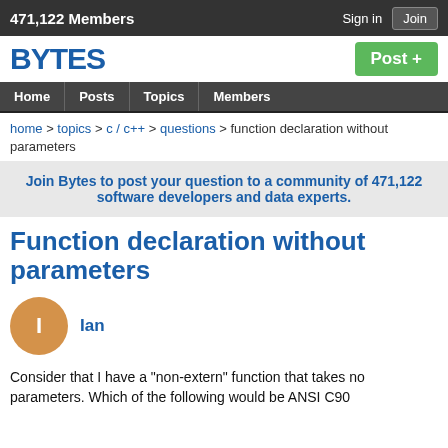471,122 Members   Sign in   Join
[Figure (logo): BYTES logo in bold blue text]
Post +
Home   Posts   Topics   Members
home > topics > c / c++ > questions > function declaration without parameters
Join Bytes to post your question to a community of 471,122 software developers and data experts.
Function declaration without parameters
Ian
Consider that I have a "non-extern" function that takes no parameters. Which of the following would be ANSI C90...